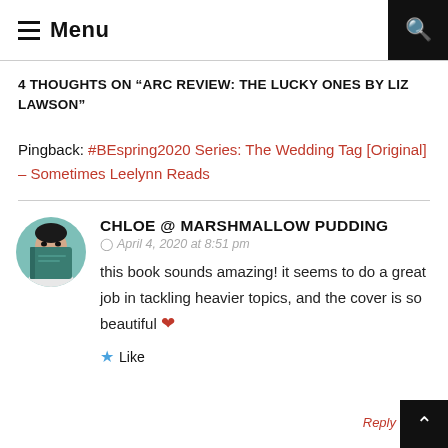Menu
4 THOUGHTS ON “ARC REVIEW: THE LUCKY ONES BY LIZ LAWSON”
Pingback: #BEspring2020 Series: The Wedding Tag [Original] – Sometimes Leelynn Reads
[Figure (photo): Circular avatar photo of a person holding a dark teal/green book in front of their face]
CHLOE @ MARSHMALLOW PUDDING
April 4, 2020 at 8:51 pm
this book sounds amazing! it seems to do a great job in tackling heavier topics, and the cover is so beautiful ❤
Like